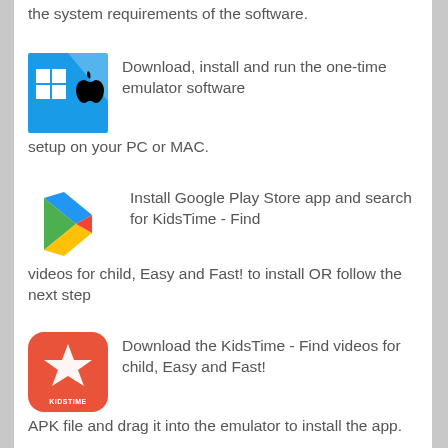the system requirements of the software.
[Figure (logo): Windows and Mac logo combined icon]
Download, install and run the one-time emulator software setup on your PC or MAC.
[Figure (logo): Google Play Store logo]
Install Google Play Store app and search for KidsTime - Find videos for child, Easy and Fast! to install OR follow the next step
[Figure (logo): KidsTime app icon - red rounded square with star]
Download the KidsTime - Find videos for child, Easy and Fast! APK file and drag it into the emulator to install the app.